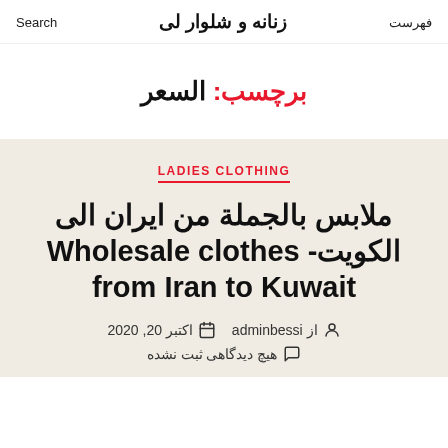فهرست  زنانه و شلوار لی  Search
برچسب: السعر
LADIES CLOTHING
ملابس بالجملة من ایران الى الکویت- Wholesale clothes from Iran to Kuwait
از adminbessi  اکتبر 20, 2020  هیچ دیدگاهی ثبت نشده